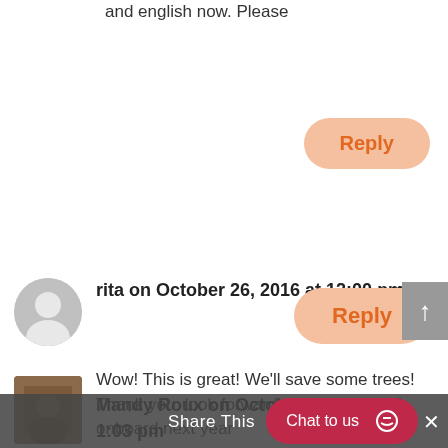and english now. Please
Reply
rita on October 26, 2016 at 12:00 pm
Wow! This is great! We'll save some trees! Thank you. look forward to have Grade 9 onboard next year
Reply
Mandy Roux on Octobe… 1:03 pm
Share This
Chat to us